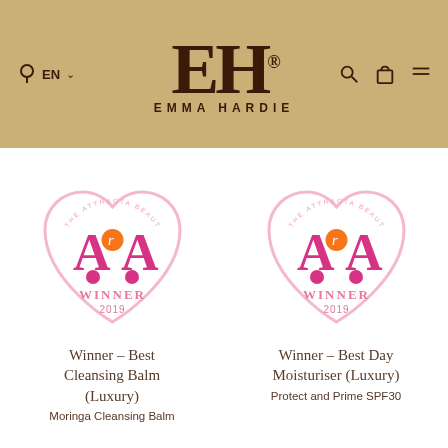[Figure (logo): Emma Hardie brand logo with EH monogram on gold/tan background, with navigation icons (location/language, search, bag, menu)]
[Figure (illustration): APA Attracta Beauty Awards WINNER 2019 badge in heart shape - for Best Cleansing Balm (Luxury)]
Winner - Best Cleansing Balm (Luxury)
Moringa Cleansing Balm
[Figure (illustration): APA Attracta Beauty Awards WINNER 2019 badge in heart shape - for Best Day Moisturiser (Luxury)]
Winner - Best Day Moisturiser (Luxury)
Protect and Prime SPF30